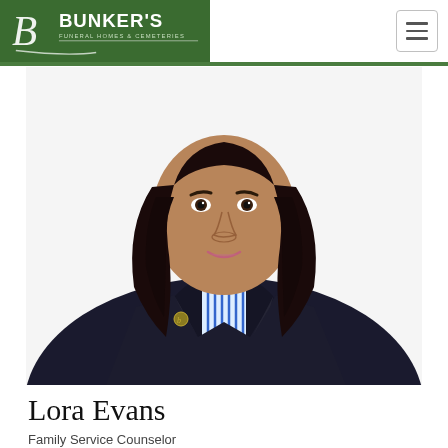[Figure (logo): Bunker's Funeral Homes & Cemeteries logo — white script B and cursive flourish on dark green background, with bold sans-serif text 'BUNKER'S' and subtitle 'FUNERAL HOMES & CEMETERIES']
[Figure (photo): Professional headshot portrait of Lora Evans, a woman with long dark hair, wearing a dark blazer over a blue and white striped blouse, smiling, against a white background]
Lora Evans
Family Service Counselor